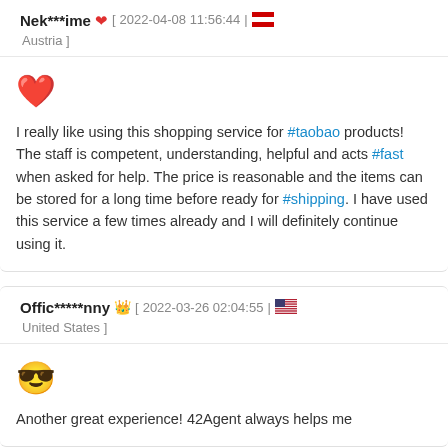Nek***ime ❤ [ 2022-04-08 11:56:44 | Austria ]
❤ I really like using this shopping service for #taobao products! The staff is competent, understanding, helpful and acts #fast when asked for help. The price is reasonable and the items can be stored for a long time before ready for #shipping. I have used this service a few times already and I will definitely continue using it.
Offic*****nny 👑 [ 2022-03-26 02:04:55 | United States ]
😎 Another great experience! 42Agent always helps me